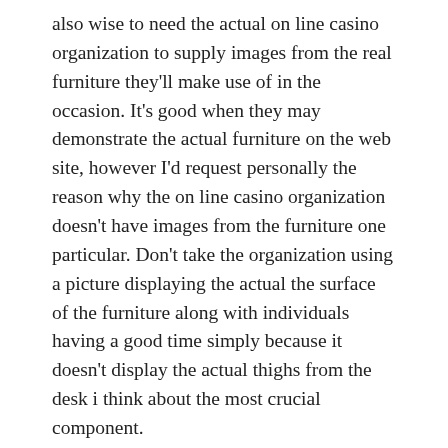also wise to need the actual on line casino organization to supply images from the real furniture they'll make use of in the occasion. It's good when they may demonstrate the actual furniture on the web site, however I'd request personally the reason why the on line casino organization doesn't have images from the furniture one particular. Don't take the organization using a picture displaying the actual the surface of the furniture along with individuals having a good time simply because it doesn't display the actual thighs from the desk i think about the most crucial component.
Price in the On line casino organization as well as recommendations. The actual on line casino celebration organization ought to be producing recommendations about the correct on line casino